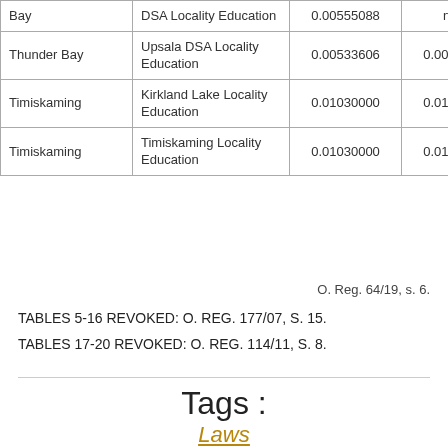| Bay | DSA Locality Education | 0.00555088 | none | none |
| Thunder Bay | Upsala DSA Locality Education | 0.00533606 | 0.00415325 | 0.0031466 |
| Timiskaming | Kirkland Lake Locality Education | 0.01030000 | 0.01030000 | 0.0103000 |
| Timiskaming | Timiskaming Locality Education | 0.01030000 | 0.01030000 | 0.0103000 |
O. Reg. 64/19, s. 6.
TABLES 5-16 REVOKED:  O. REG. 177/07, S. 15.
TABLES 17-20 REVOKED:  O. REG. 114/11, S. 8.
Tags :
Laws